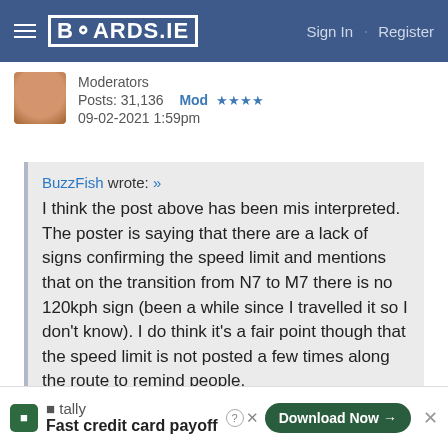BOARDS.IE  Sign In · Register
Moderators
Posts: 31,136   Mod ★★★★
09-02-2021 1:59pm
BuzzFish wrote: »
I think the post above has been mis interpreted. The poster is saying that there are a lack of signs confirming the speed limit and mentions that on the transition from N7 to M7 there is no 120kph sign (been a while since I travelled it so I don't know). I do think it's a fair point though that the speed limit is not posted a few times along the route to remind people.
As the government have abandoned the NSL, there is a
tally  Fast credit card payoff   Download Now →